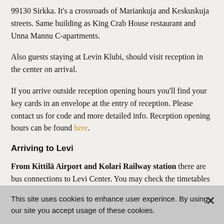99130 Sirkka. It's a crossroads of Mariankuja and Keskuskuja streets. Same building as King Crab House restaurant and Unna Mannu C-apartments.
Also guests staying at Levin Klubi, should visit reception in the center on arrival.
If you arrive outside reception opening hours you'll find your key cards in an envelope at the entry of reception. Please contact us for code and more detailed info. Reception opening hours can be found here.
Arriving to Levi
From Kittilä Airport and Kolari Railway station there are bus connections to Levi Center. You may check the timetables www.tunturilinjat.fi. During ski season pre-
This site uses cookies to enhance user experince. By using our site you accept usage of these cookies.